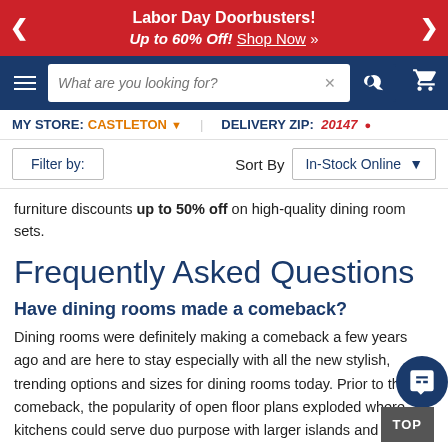Labor Day Doorbusters! Up to 60% Off! Shop Now »
[Figure (screenshot): Website navigation bar with hamburger menu, search box, and cart icon on dark blue background]
MY STORE: CASTLETON ▾   DELIVERY ZIP: 20147 ▾
Filter by:   Sort By  In-Stock Online ▾
furniture discounts up to 50% off on high-quality dining room sets.
Frequently Asked Questions
Have dining rooms made a comeback?
Dining rooms were definitely making a comeback a few years ago and are here to stay especially with all the new stylish, trending options and sizes for dining rooms today. Prior to their comeback, the popularity of open floor plans exploded where kitchens could serve duo purpose with larger islands and